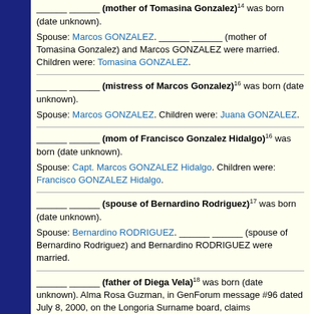______ ______ (mother of Tomasina Gonzalez) was born (date unknown).
Spouse: Marcos GONZALEZ. ______ ______ (mother of Tomasina Gonzalez) and Marcos GONZALEZ were married. Children were: Tomasina GONZALEZ.
______ ______ (mistress of Marcos Gonzalez)^16 was born (date unknown).
Spouse: Marcos GONZALEZ. Children were: Juana GONZALEZ.
______ ______ (mom of Francisco Gonzalez Hidalgo)^16 was born (date unknown).
Spouse: Capt. Marcos GONZALEZ Hidalgo. Children were: Francisco GONZALEZ Hidalgo.
______ ______ (spouse of Bernardino Rodriguez)^17 was born (date unknown).
Spouse: Bernardino RODRIGUEZ. ______ ______ (spouse of Bernardino Rodriguez) and Bernardino RODRIGUEZ were married.
______ ______ (father of Diega Vela)^18 was born (date unknown). Alma Rosa Guzman, in GenForum message #96 dated July 8, 2000, on the Longoria Surname board, claims